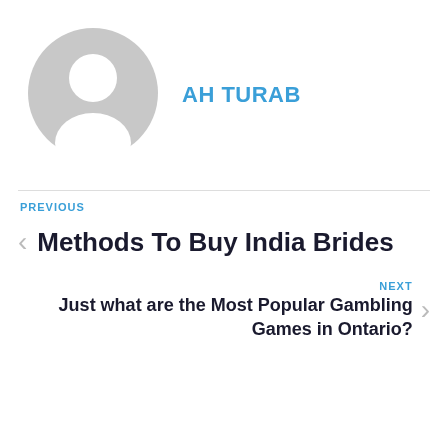[Figure (illustration): Generic gray user avatar icon — circular silhouette with head and shoulders]
AH TURAB
PREVIOUS
Methods To Buy India Brides
NEXT
Just what are the Most Popular Gambling Games in Ontario?